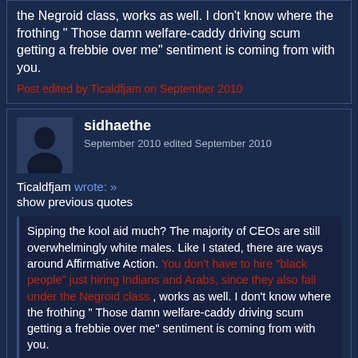the Negroid class, works as well. I don't know where the frothing " Those damn welfare-caddy driving scum getting a frebbie over me" sentiment is coming from with you.
Post edited by Ticaldfjam on September 2010
sidhaethe
September 2010 edited September 2010
Ticaldfjam wrote: »
show previous quotes
Sipping the kool aid much? The majority of CEOs are still overwhelmingly white males. Like I stated, there are ways around Affirmative Action. You don't have to hire "black people" just hiring Indians and Arabs, since they also fall under the Negroid class , works as well. I don't know where the frothing " Those damn welfare-caddy driving scum getting a frebbie over me" sentiment is coming from with you.